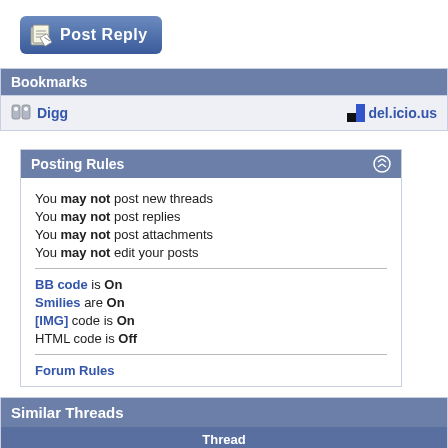[Figure (other): Post Reply button with pencil/paper icon, blue gradient rounded rectangle]
Bookmarks
Digg   del.icio.us
Posting Rules
You may not post new threads
You may not post replies
You may not post attachments
You may not edit your posts
BB code is On
Smilies are On
[IMG] code is On
HTML code is Off
Forum Rules
Similar Threads
| Thread |
| --- |
| <3Chocolate Mini Cake<3 |
| mini schnauzer - lots of tears |
| Mini Schnauzer lost her appetite |